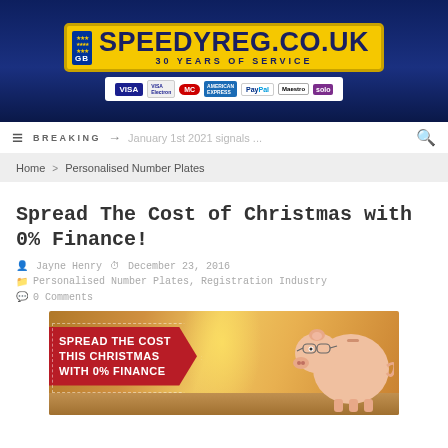[Figure (screenshot): SpeedyReg.co.uk banner advertisement with yellow number plate logo, '30 Years of Service' text, and payment method icons (Visa, Mastercard, American Express, PayPal, Maestro, Solo) on dark blue background]
≡  BREAKING → January 1st 2021 signals ...  🔍
Home > Personalised Number Plates
Spread The Cost of Christmas with 0% Finance!
Jayne Henry  December 23, 2016
Personalised Number Plates, Registration Industry
0 Comments
[Figure (photo): Promotional image showing a piggy bank wearing glasses on a warm-toned background with red ribbon banner overlay reading 'SPREAD THE COST THIS CHRISTMAS WITH 0% FINANCE']